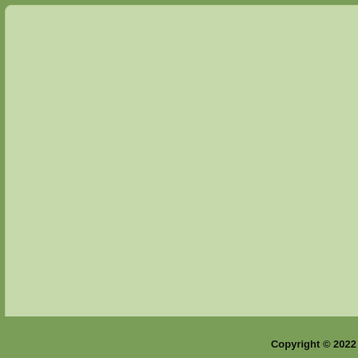dies, or the husband reach support she will receive.
Property Distribution
The Court also addresses the Court notes, Iowa law does determines that the wife m house has passed, that she before the marriage, and th operation should not be dis
Share
[Figure (logo): Facebook share button with Facebook logo icon and blue Facebook text link]
Like this:
Like  Be the firs
Posted in Divorce, Iowa Court of A Tagged Alimony, Divorce, Iowa C Support
Copyright © 2022